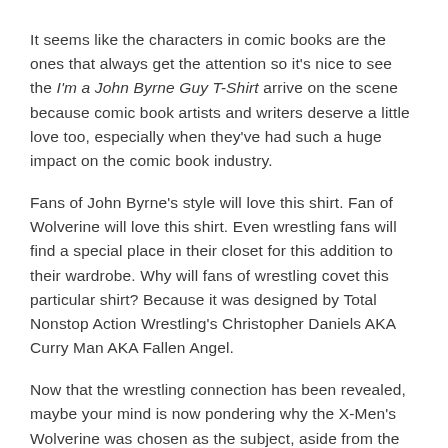It seems like the characters in comic books are the ones that always get the attention so it's nice to see the I'm a John Byrne Guy T-Shirt arrive on the scene because comic book artists and writers deserve a little love too, especially when they've had such a huge impact on the comic book industry.
Fans of John Byrne's style will love this shirt. Fan of Wolverine will love this shirt. Even wrestling fans will find a special place in their closet for this addition to their wardrobe. Why will fans of wrestling covet this particular shirt? Because it was designed by Total Nonstop Action Wrestling's Christopher Daniels AKA Curry Man AKA Fallen Angel.
Now that the wrestling connection has been revealed, maybe your mind is now pondering why the X-Men's Wolverine was chosen as the subject, aside from the fact that he's probably the most popular, well-known member of